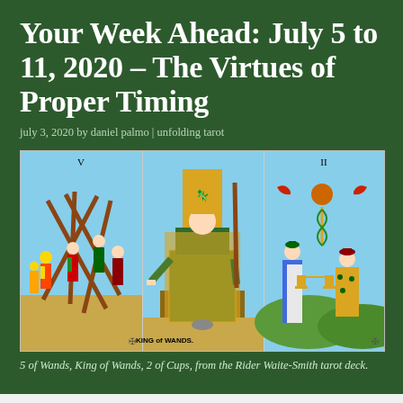Your Week Ahead: July 5 to 11, 2020 – The Virtues of Proper Timing
july 3, 2020 by daniel palmo | unfolding tarot
[Figure (illustration): Three tarot cards side by side: 5 of Wands (five figures fighting with staves), King of Wands (king seated on throne holding a wand), and 2 of Cups (two figures exchanging cups), from the Rider Waite-Smith tarot deck.]
5 of Wands, King of Wands, 2 of Cups, from the Rider Waite-Smith tarot deck.